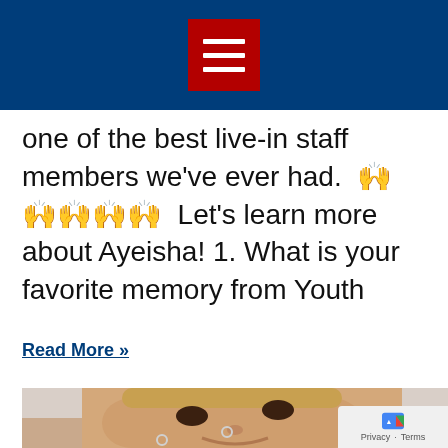Navigation menu icon
one of the best live-in staff members we’ve ever had. 👏👏👏👏👏 Let’s learn more about Ayeisha! 1. What is your favorite memory from Youth
Read More »
[Figure (photo): Close-up photo of a smiling woman with blonde hair, dark eye makeup, and a nose ring, wearing a light blue top.]